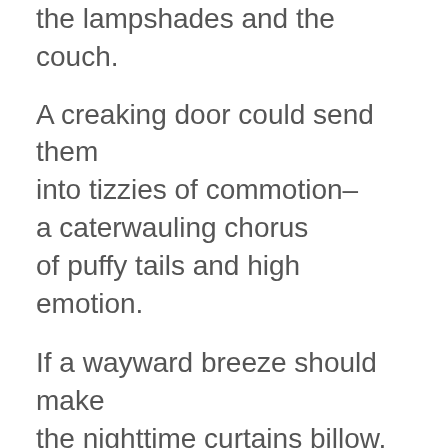the lampshades and the couch.
A creaking door could send them
into tizzies of commotion–
a caterwauling chorus
of puffy tails and high emotion.
If a wayward breeze should make
the nighttime curtains billow,
Dora'd wake to find those cats
a-tremble on her pillow.
Their eyes lit up the darkness
with a terrifying gleam,
and Dora often heard them
utter little kitty screams.
It went like that for many moons